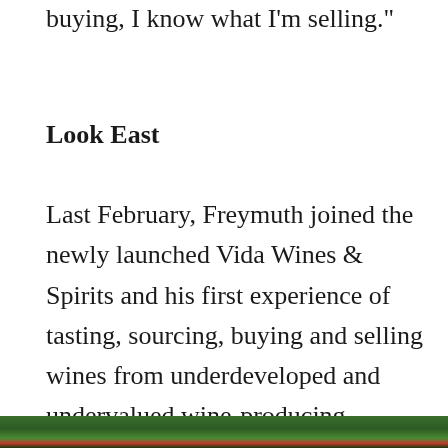buying, I know what I’m selling.”
Look East
Last February, Freymuth joined the newly launched Vida Wines & Spirits and his first experience of tasting, sourcing, buying and selling wines from underdeveloped and undervalued wine-producing countries across Central and Eastern Europe.
[Figure (photo): Partial view of a colorful outdoor photo strip at the bottom of the page, showing green foliage and red elements.]